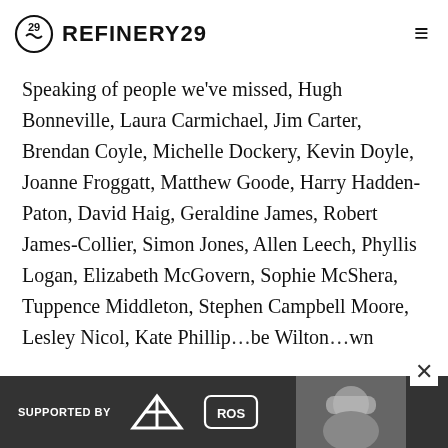REFINERY29
Speaking of people we've missed, Hugh Bonneville, Laura Carmichael, Jim Carter, Brendan Coyle, Michelle Dockery, Kevin Doyle, Joanne Froggatt, Matthew Goode, Harry Hadden-Paton, David Haig, Geraldine James, Robert James-Collier, Simon Jones, Allen Leech, Phyllis Logan, Elizabeth McGovern, Sophie McShera, Tuppence Middleton, Stephen Campbell Moore, Lesley Nicol, Kate Phillipobe Wilton...wn
[Figure (other): Advertisement banner: SUPPORTED BY adidas and ROS logos, with a photo of a person wearing ski goggles]